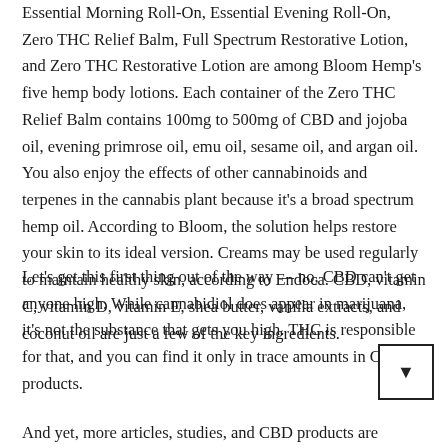Essential Morning Roll-On, Essential Evening Roll-On, Zero THC Relief Balm, Full Spectrum Restorative Lotion, and Zero THC Restorative Lotion are among Bloom Hemp's five hemp body lotions. Each container of the Zero THC Relief Balm contains 100mg to 500mg of CBD and jojoba oil, evening primrose oil, emu oil, sesame oil, and argan oil. You also enjoy the effects of other cannabinoids and terpenes in the cannabis plant because it's a broad spectrum hemp oil. According to Bloom, the solution helps restore your skin to its ideal version. Creams may be used regularly to maintain healthy skin, according to Endoca. CBD, vitamin C, vitamin D, vitamin E, shea butter, vanilla extracts, and coconut oil are just a few of the key ingredients.
Let's get this first thing out of the way — no, CBD can't get anyone high. While cannabidiol does appear in marijuana, it's not the substance that gets you high. THC is responsible for that, and you can find it only in trace amounts in CBD products.
And yet, more articles, studies, and CBD products are coming out all the